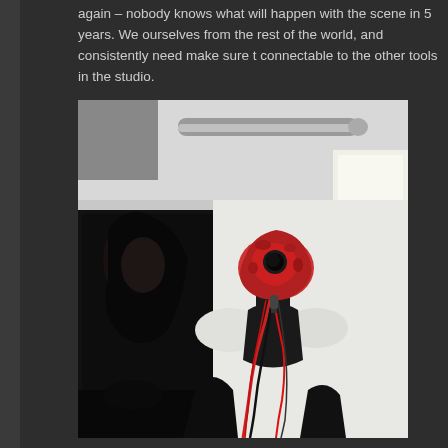again – nobody knows what will happen with the scene in 5 years. We ourselves from the rest of the world, and consistently need make sure t connectable to the other tools in the studio.
[Figure (photo): A white mannequin torso wearing a black turtleneck and black gloves, with a grotesque red sculptural mask/head piece with wires and cables hanging from it. Behind the mannequin is a dark framed artwork/photograph on the wall showing a person with dark hair. The setting appears to be a studio or gallery space with white walls, industrial ceiling pipes, and a bright window on the right side.]